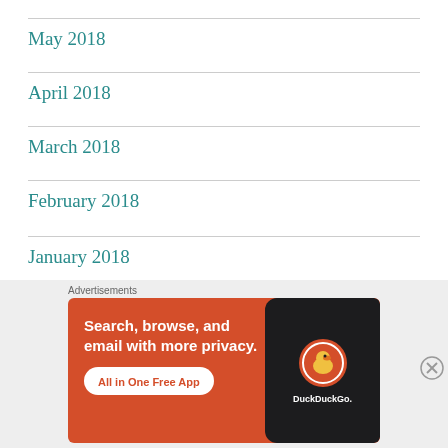May 2018
April 2018
March 2018
February 2018
January 2018
December 2017
November 2017
[Figure (screenshot): DuckDuckGo advertisement banner with orange background. Text reads 'Search, browse, and email with more privacy. All in One Free App' with a phone showing DuckDuckGo logo.]